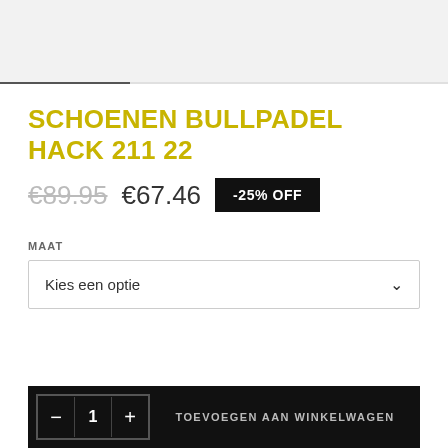SCHOENEN BULLPADEL HACK 211 22
€89.95  €67.46  -25% OFF
MAAT
Kies een optie
- 1 +  TOEVOEGEN AAN WINKELWAGEN